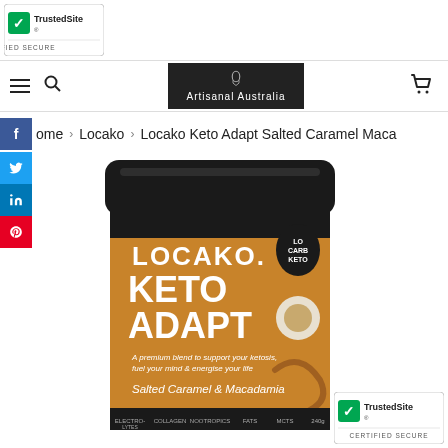[Figure (logo): TrustedSite Certified Secure badge top-left]
[Figure (screenshot): Navigation bar with hamburger menu, search icon, Artisanal Australia logo, and cart icon]
Home > Locako > Locako Keto Adapt Salted Caramel Maca
[Figure (photo): Locako Keto Adapt Salted Caramel & Macadamia product jar with black lid and brown label showing LOCAKO. KETO ADAPT branding, LO CARB KETO droplet logo, and ingredient icons at bottom]
[Figure (logo): TrustedSite Certified Secure badge bottom-right]